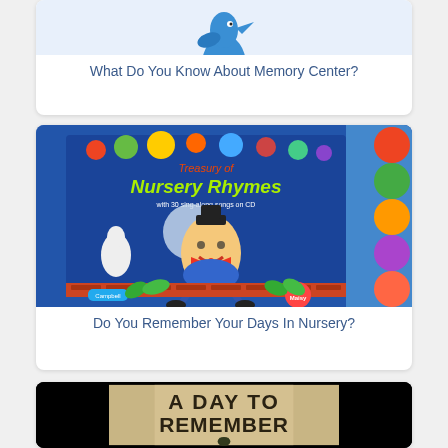[Figure (illustration): Partial view of a blue bird illustration at the top of a card (cropped at top of page)]
What Do You Know About Memory Center?
[Figure (illustration): Cover of 'Treasury of Nursery Rhymes' book featuring Humpty Dumpty character sitting on a brick wall, with colorful circular icons on the right side, Campbell and Maisy logos]
Do You Remember Your Days In Nursery?
[Figure (photo): Partial photo showing text 'A DAY TO REMEMBER' on a beige/tan background with black side bars, a small silhouette figure visible at the bottom]